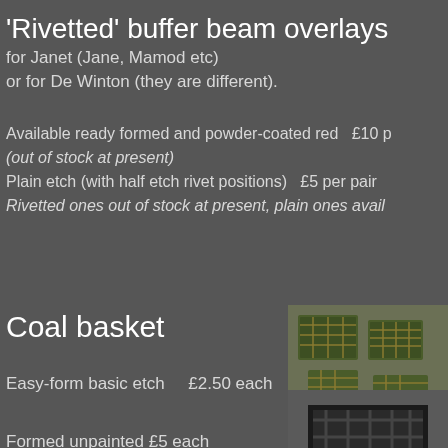'Rivetted' buffer beam overlays
for Janet (Jane, Mamod etc)
or for De Winton (they are different).
Available ready formed and powder-coated red   £10 p
(out of stock at present)
Plain etch (with half etch rivet positions)   £5 per pair
Rivetted ones out of stock at present, plain ones avai
Coal basket
[Figure (photo): Photo of green/brass coloured coal basket etches laid flat on a surface]
Easy-form basic etch    £2.50 each

Formed unpainted £5 each

Formed and sprayed black  £6 each
[Figure (photo): Photo of a formed black coal basket from above showing grid structure]